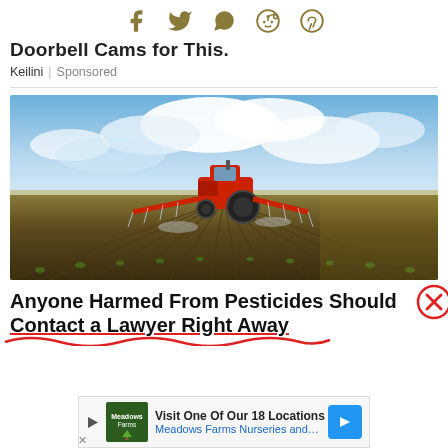[Figure (infographic): Social sharing icons: Facebook, Twitter, WhatsApp, Reddit, Pinterest in olive/tan color]
Doorbell Cams for This.
Keilini | Sponsored
[Figure (photo): A red tractor spraying pesticides on rows of crops in a large agricultural field under a partly cloudy blue sky]
Anyone Harmed From Pesticides Should Contact a Lawyer Right Away
[Figure (infographic): Red circle X close button overlay on the right side]
Visit One Of Our 18 Locations
Meadows Farms Nurseries and Landsca
[Figure (logo): Meadows Farms Nurseries green logo with tree imagery]